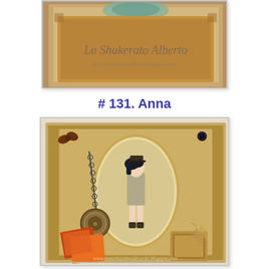[Figure (photo): Top half of a handmade scrapbook/craft card by Lo Shaherato Alberto with steampunk decorative elements, watermark text 'Lo Shakerato Alberto' and URL 'http://loshakeratoalberto.blogspot.com/']
# 131. Anna
[Figure (photo): Handmade steampunk-style card by Anna featuring a stylized girl with black hair and top hat in an oval cameo frame, surrounded by decorative gears, chains, clock charms, feathers, and patterned papers in brown/gold tones. Watermark: www.annashandmadecards.blogspot.com]